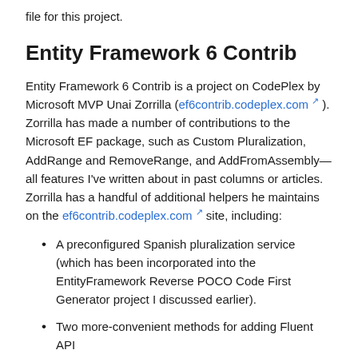file for this project.
Entity Framework 6 Contrib
Entity Framework 6 Contrib is a project on CodePlex by Microsoft MVP Unai Zorrilla (ef6contrib.codeplex.com ↗). Zorrilla has made a number of contributions to the Microsoft EF package, such as Custom Pluralization, AddRange and RemoveRange, and AddFromAssembly—all features I've written about in past columns or articles. Zorrilla has a handful of additional helpers he maintains on the ef6contrib.codeplex.com ↗ site, including:
A preconfigured Spanish pluralization service (which has been incorporated into the EntityFramework Reverse POCO Code First Generator project I discussed earlier).
Two more-convenient methods for adding Fluent API